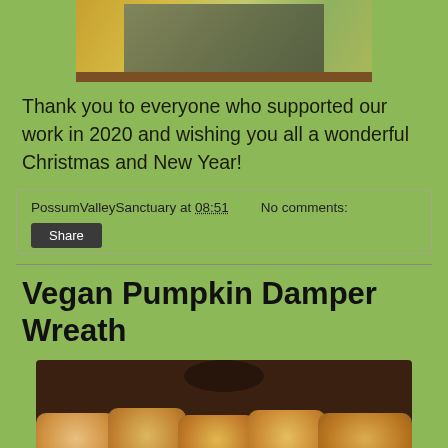[Figure (photo): Photo of a framed image on a wooden surface with gold glitter background and nature scene]
Thank you to everyone who supported our work in 2020 and wishing you all a wonderful Christmas and New Year!
PossumValleySanctuary at 08:51    No comments:
Share
Vegan Pumpkin Damper Wreath
[Figure (photo): Photo of golden baked rolls arranged in a wreath shape in a dark cast iron pan]